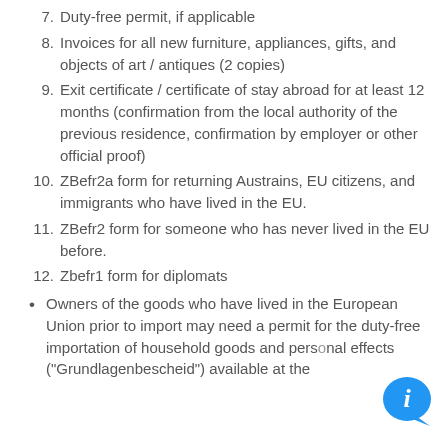7. Duty-free permit, if applicable
8. Invoices for all new furniture, appliances, gifts, and objects of art / antiques (2 copies)
9. Exit certificate / certificate of stay abroad for at least 12 months (confirmation from the local authority of the previous residence, confirmation by employer or other official proof)
10. ZBefr2a form for returning Austrains, EU citizens, and immigrants who have lived in the EU.
11. ZBefr2 form for someone who has never lived in the EU before.
12. Zbefr1 form for diplomats
Owners of the goods who have lived in the European Union prior to import may need a permit for the duty-free importation of household goods and personal effects ("Grundlagenbescheid") available at the